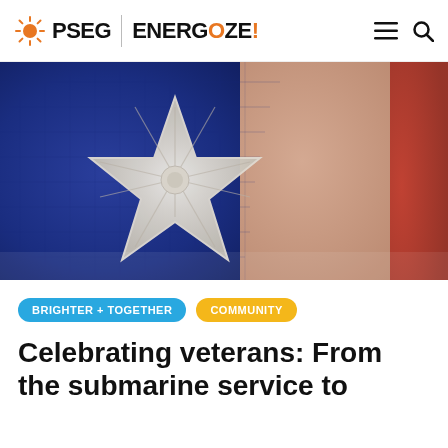PSEG | ENERGIZE!
[Figure (photo): Close-up macro photograph of an embroidered white star on a blue American flag fabric, with red and white stripes blurred in the background right.]
BRIGHTER + TOGETHER
COMMUNITY
Celebrating veterans: From the submarine service to